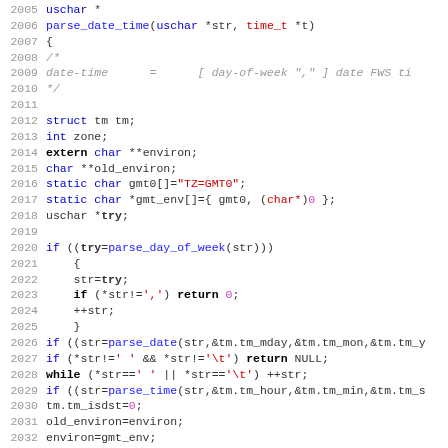[Figure (screenshot): Source code listing in C showing function parse_date_time with syntax highlighting. Line numbers 2005-2036 visible. Blue keywords, red strings/literals, bold identifiers, gray comments, monospace font on white background.]